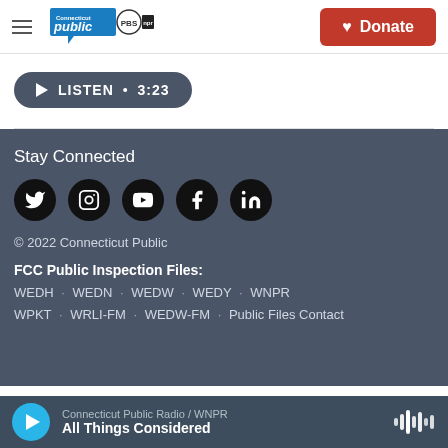Connecticut Public | PBS | NPR | Donate
[Figure (other): Listen audio player button showing play icon, LISTEN • 3:23]
Stay Connected
[Figure (other): Social media icons: Twitter, Instagram, YouTube, Facebook, LinkedIn]
© 2022 Connecticut Public
FCC Public Inspection Files: WEDH · WEDN · WEDW · WEDY · WNPR WPKT · WRLI-FM · WEDW-FM · Public Files Contact
Connecticut Public Radio / WNPR — All Things Considered